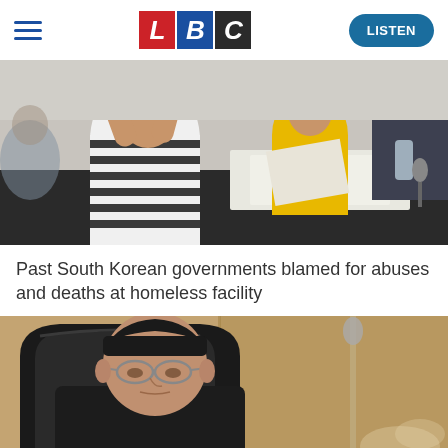LBC — LISTEN
[Figure (photo): People seated at a table at what appears to be a hearing or meeting. A person in a black and white striped outfit with their face hidden is in the foreground, next to a person in a yellow jacket looking at papers.]
Past South Korean governments blamed for abuses and deaths at homeless facility
[Figure (photo): An elderly Asian man in glasses and dark clothing seated in a large black leather chair, with a microphone visible in the background against a beige wall.]